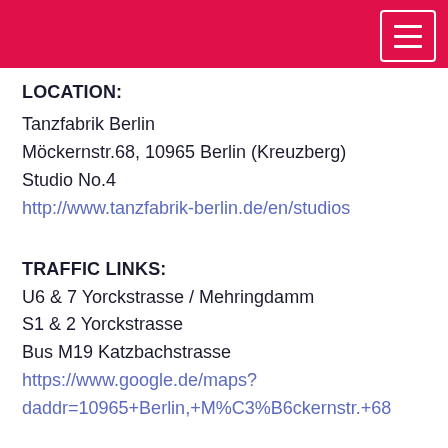LOCATION:
Tanzfabrik Berlin
Möckernstr.68, 10965 Berlin (Kreuzberg)
Studio No.4
http://www.tanzfabrik-berlin.de/en/studios
TRAFFIC LINKS:
U6 & 7 Yorckstrasse / Mehringdamm
S1 & 2 Yorckstrasse
Bus M19 Katzbachstrasse
https://www.google.de/maps?daddr=10965+Berlin,+M%C3%B6ckernstr.+68